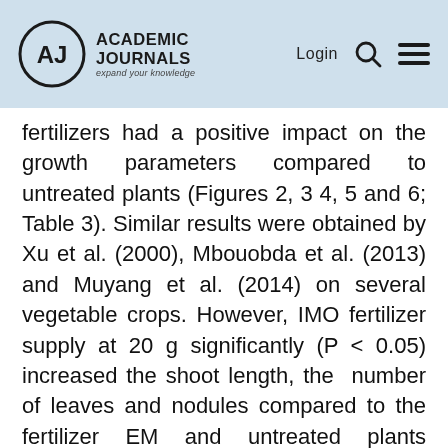Academic Journals — expand your knowledge | Login
fertilizers had a positive impact on the growth parameters compared to untreated plants (Figures 2, 3 4, 5 and 6; Table 3). Similar results were obtained by Xu et al. (2000), Mbouobda et al. (2013) and Muyang et al. (2014) on several vegetable crops. However, IMO fertilizer supply at 20 g significantly (P < 0.05) increased the shoot length, the number of leaves and nodules compared to the fertilizer EM and untreated plants (Figures 2, 4 and 6). These results could be explained by the fact that IMO consists of beneficial indigenous microorganisms that rapidly degrade organic matter while increasing